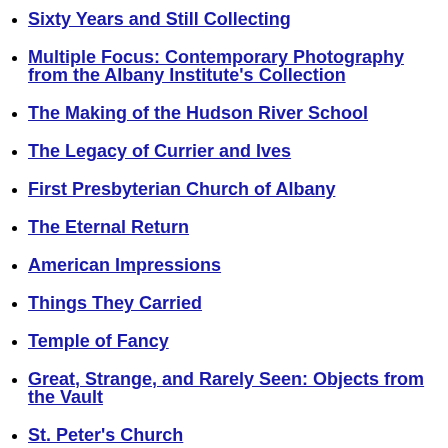Sixty Years and Still Collecting
Multiple Focus: Contemporary Photography from the Albany Institute's Collection
The Making of the Hudson River School
The Legacy of Currier and Ives
First Presbyterian Church of Albany
The Eternal Return
American Impressions
Things They Carried
Temple of Fancy
Great, Strange, and Rarely Seen: Objects from the Vault
St. Peter's Church
Kid Stuff
Albany and Civil War